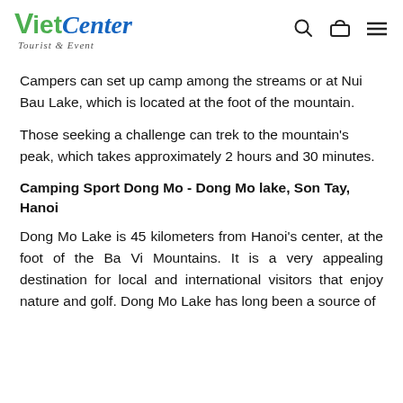VietCenter Tourist & Event
Campers can set up camp among the streams or at Nui Bau Lake, which is located at the foot of the mountain.
Those seeking a challenge can trek to the mountain's peak, which takes approximately 2 hours and 30 minutes.
Camping Sport Dong Mo - Dong Mo lake, Son Tay, Hanoi
Dong Mo Lake is 45 kilometers from Hanoi's center, at the foot of the Ba Vi Mountains. It is a very appealing destination for local and international visitors that enjoy nature and golf. Dong Mo Lake has long been a source of